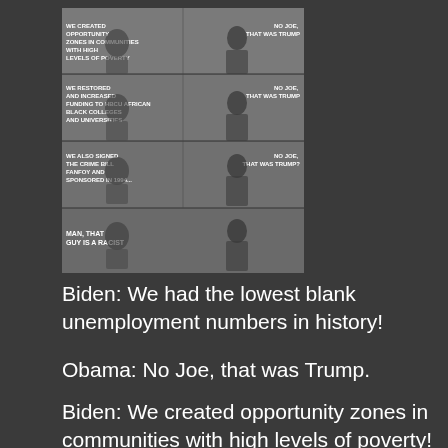[Figure (illustration): A multi-panel meme comic featuring two men (depicted as Biden and Obama) sitting together. Panel 1: 'WE CREATED OPPORTUNITY ZONES IN COMMUNITIES WITH HIGH LEVELS OF POVERTY' / 'NO JOE, THAT WAS TRUMP'. Panel 2: 'WE RESTORED AND INCREASED FUNDING TO HBCU AFRICAN BLACK COLLEGES AND UNIVERSITIES' / 'NO JOE, THAT WAS TRUMP'. Panel 3: 'WE ALSO SIGNED THE CRIME BILL FANFOY AND SPONSORED IN 1994...' / 'NO JOE, THAT WAS TRUMP?'. Panel 4: 'MAN, THAT GUY IS A RACIST'.]
Biden: We had the lowest blank unemployment numbers in history!
Obama: No Joe, that was Trump.
Biden: We created opportunity zones in communities with high levels of poverty!